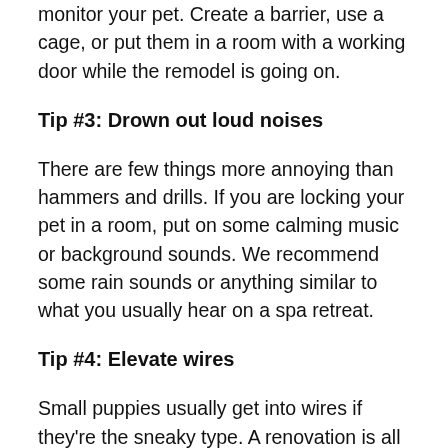monitor your pet. Create a barrier, use a cage, or put them in a room with a working door while the remodel is going on.
Tip #3: Drown out loud noises
There are few things more annoying than hammers and drills. If you are locking your pet in a room, put on some calming music or background sounds. We recommend some rain sounds or anything similar to what you usually hear on a spa retreat.
Tip #4: Elevate wires
Small puppies usually get into wires if they're the sneaky type. A renovation is all they need to